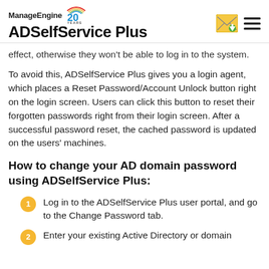ManageEngine 20 YEARS | ADSelfService Plus
effect, otherwise they won't be able to log in to the system.
To avoid this, ADSelfService Plus gives you a login agent, which places a Reset Password/Account Unlock button right on the login screen. Users can click this button to reset their forgotten passwords right from their login screen. After a successful password reset, the cached password is updated on the users' machines.
How to change your AD domain password using ADSelfService Plus:
Log in to the ADSelfService Plus user portal, and go to the Change Password tab.
Enter your existing Active Directory or domain